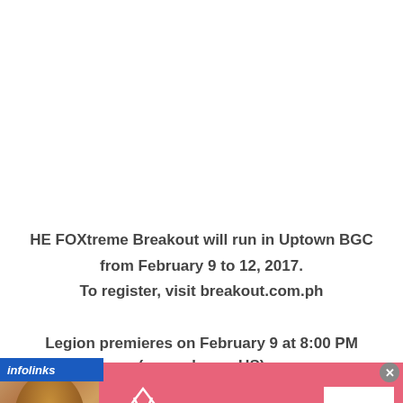HE FOXtreme Breakout will run in Uptown BGC from February 9 to 12, 2017.
To register, visit breakout.com.ph
Legion premieres on February 9 at 8:00 PM
(same day as US)
[Figure (screenshot): Victoria's Secret advertisement banner with pink background, model photo on left, VS logo in center, 'SHOP THE COLLECTION' text, and 'SHOP NOW' button. Infolinks label in top-left corner.]